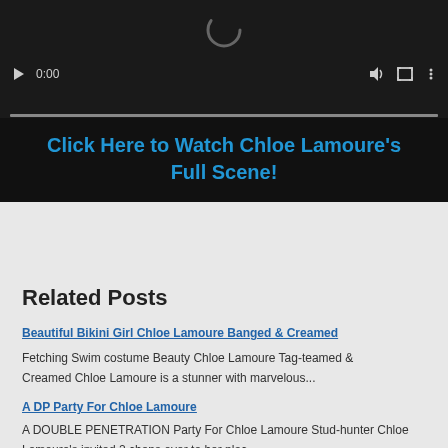[Figure (screenshot): Video player interface with dark background, spinner/loading circle, play button, 0:00 time display, volume icon, fullscreen icon, settings icon, and a progress bar at the bottom.]
Click Here to Watch Chloe Lamoure's Full Scene!
See More of Chloe Lamoure at SCORELAND.COM!
Related Posts
Beautiful Bikini Girl Chloe Lamoure Banged & Creamed
Fetching Swim costume Beauty Chloe Lamoure Tag-teamed & Creamed Chloe Lamoure is a stunner with marvelous...
A DP Party For Chloe Lamoure
A DOUBLE PENETRATION Party For Chloe Lamoure Stud-hunter Chloe Lamoure's invited 2 chaps over to her plac...